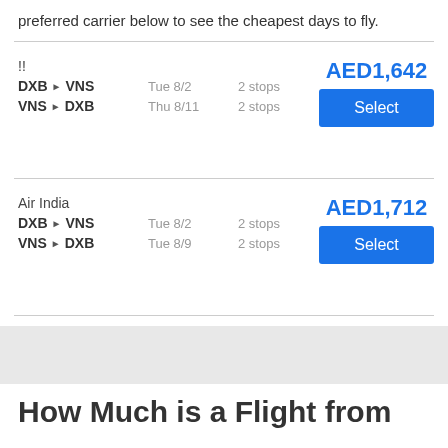preferred carrier below to see the cheapest days to fly.
!!
DXB▶VNS  Tue 8/2  2 stops
VNS▶DXB  Thu 8/11  2 stops
AED1,642
Select
Air India
DXB▶VNS  Tue 8/2  2 stops
VNS▶DXB  Tue 8/9  2 stops
AED1,712
Select
How Much is a Flight from